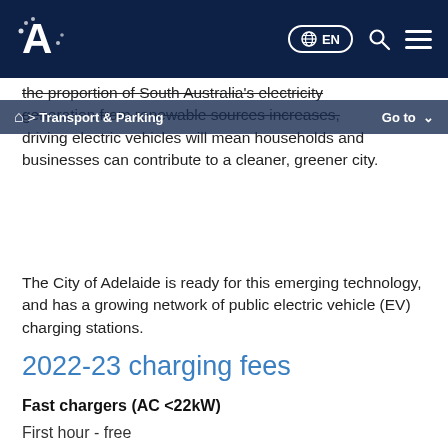City of Adelaide — EN | Transport & Parking | Go to
the proportion of South Australia's electricity generation from renewable sources increases, driving electric vehicles will mean households and businesses can contribute to a cleaner, greener city.
The City of Adelaide is ready for this emerging technology, and has a growing network of public electric vehicle (EV) charging stations.
2022-23 charging fees
Fast chargers (AC <22kW)
First hour - free